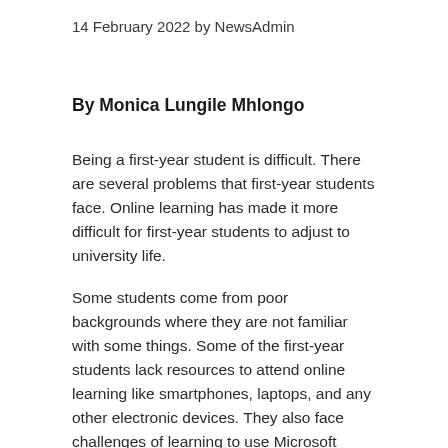14 February 2022 by NewsAdmin
By Monica Lungile Mhlongo
Being a first-year student is difficult. There are several problems that first-year students face. Online learning has made it more difficult for first-year students to adjust to university life.
Some students come from poor backgrounds where they are not familiar with some things. Some of the first-year students lack resources to attend online learning like smartphones, laptops, and any other electronic devices. They also face challenges of learning to use Microsoft Teams, creating student emails, and conducting internet-related tasks.